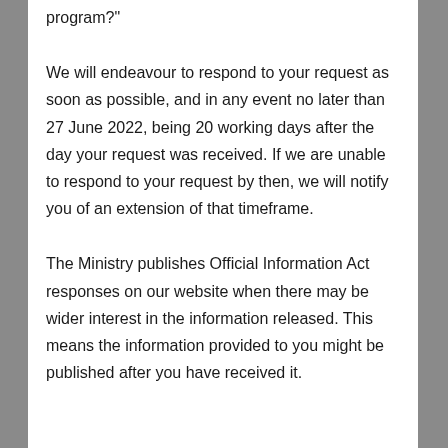program?"
We will endeavour to respond to your request as soon as possible, and in any event no later than 27 June 2022, being 20 working days after the day your request was received. If we are unable to respond to your request by then, we will notify you of an extension of that timeframe.
The Ministry publishes Official Information Act responses on our website when there may be wider interest in the information released. This means the information provided to you might be published after you have received it.